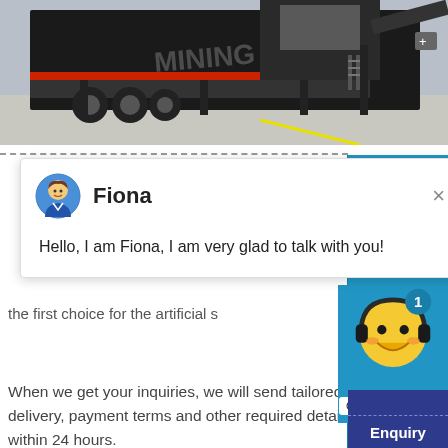[Figure (photo): Industrial mobile crushing/screening machine equipment on truck chassis in a warehouse facility. Watermark text 'MINING' visible.]
[Figure (screenshot): Live chat popup overlay with avatar, name 'Fiona', and greeting message. Close X button top right.]
the first choice for the artificial s
[Figure (screenshot): Chat widget with yellow smiley face wearing headphones, blue number badge '1', and 'Click me to chat >>' button on blue sidebar.]
When we get your inquiries, we will send tailored delivery, payment terms and other required details within 24 hours.
Enquiry
cywaitml @gmail.com